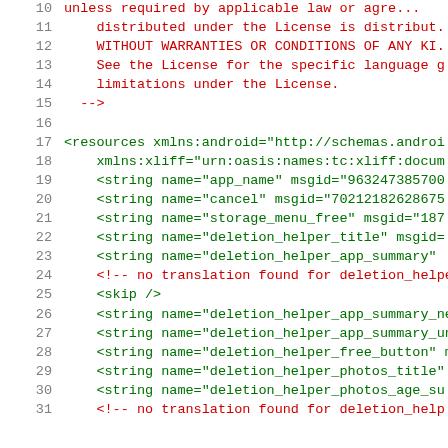Code listing lines 10-31 of an Android XML resource file with license header
10    unless required by applicable law or agree...
11        distributed under the License is distribut...
12        WITHOUT WARRANTIES OR CONDITIONS OF ANY KI...
13        See the License for the specific language g...
14        limitations under the License.
15    -->
16    (blank)
17    <resources xmlns:android="http://schemas.androi...
18        xmlns:xliff="urn:oasis:names:tc:xliff:docum...
19        <string name="app_name" msgid="963247385700...
20        <string name="cancel" msgid="70212182628675...
21        <string name="storage_menu_free" msgid="187...
22        <string name="deletion_helper_title" msgid=...
23        <string name="deletion_helper_app_summary" ...
24        <!-- no translation found for deletion_helpe...
25        <skip />
26        <string name="deletion_helper_app_summary_ne...
27        <string name="deletion_helper_app_summary_un...
28        <string name="deletion_helper_free_button" m...
29        <string name="deletion_helper_photos_title"...
30        <string name="deletion_helper_photos_age_su...
31        <!-- no translation found for deletion_help...